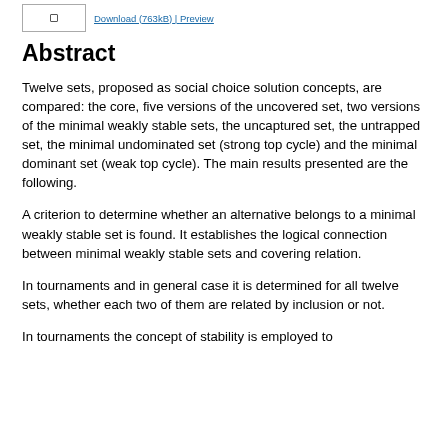Download (763kB) | Preview
Abstract
Twelve sets, proposed as social choice solution concepts, are compared: the core, five versions of the uncovered set, two versions of the minimal weakly stable sets, the uncaptured set, the untrapped set, the minimal undominated set (strong top cycle) and the minimal dominant set (weak top cycle). The main results presented are the following.
A criterion to determine whether an alternative belongs to a minimal weakly stable set is found. It establishes the logical connection between minimal weakly stable sets and covering relation.
In tournaments and in general case it is determined for all twelve sets, whether each two of them are related by inclusion or not.
In tournaments the concept of stability is employed to